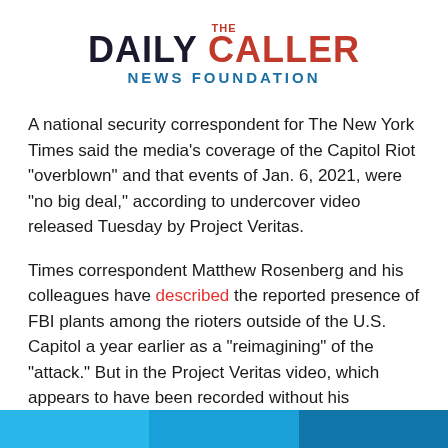[Figure (logo): The Daily Caller News Foundation logo with red 'THE', black 'DAILY', red 'CALLER', and blue 'NEWS FOUNDATION' text]
A national security correspondent for The New York Times said the media’s coverage of the Capitol Riot “overblown” and that events of Jan. 6, 2021, were “no big deal,” according to undercover video released Tuesday by Project Veritas.
Times correspondent Matthew Rosenberg and his colleagues have described the reported presence of FBI plants among the rioters outside of the U.S. Capitol a year earlier as a “reimagining” of the “attack.” But in the Project Veritas video, which appears to have been recorded without his